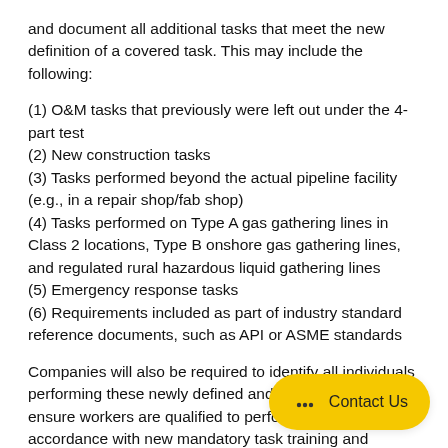and document all additional tasks that meet the new definition of a covered task. This may include the following:
(1) O&M tasks that previously were left out under the 4-part test
(2) New construction tasks
(3) Tasks performed beyond the actual pipeline facility (e.g., in a repair shop/fab shop)
(4) Tasks performed on Type A gas gathering lines in Class 2 locations, Type B onshore gas gathering lines, and regulated rural hazardous liquid gathering lines
(5) Emergency response tasks
(6) Requirements included as part of industry standard reference documents, such as API or ASME standards
Companies will also be required to identify all individuals performing these newly defined and identified tasks, and ensure workers are qualified to perform these tasks in accordance with new mandatory task training and quali requirements, including both initia qualifications. If the GPAC and LPAC recommended